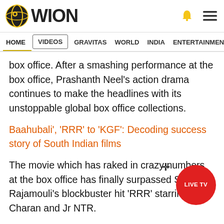WION
HOME | VIDEOS | GRAVITAS | WORLD | INDIA | ENTERTAINMENT | SPORTS
box office. After a smashing performance at the box office, Prashanth Neel's action drama continues to make the headlines with its unstoppable global box office collections.
Baahubali', 'RRR' to 'KGF': Decoding success story of South Indian films
The movie which has raked in crazy numbers at the box office has finally surpassed SS Rajamouli's blockbuster hit 'RRR' starring Ram Charan and Jr NTR.